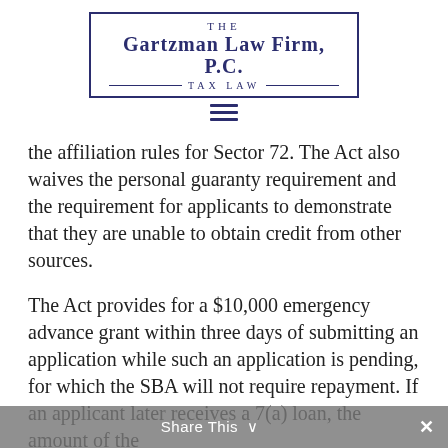[Figure (logo): The Gartzman Law Firm, P.C. Tax Law logo with navy blue border box and text]
the affiliation rules for Sector 72. The Act also waives the personal guaranty requirement and the requirement for applicants to demonstrate that they are unable to obtain credit from other sources.
The Act provides for a $10,000 emergency advance grant within three days of submitting an application while such an application is pending, for which the SBA will not require repayment. If an applicant later receives a 7(a) loan, the amount of the
Share This ×